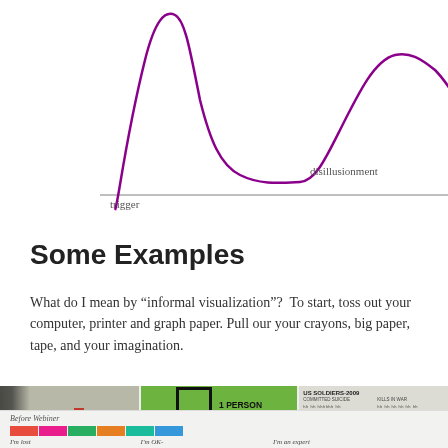[Figure (continuous-plot): A line chart showing a curve with two peaks and a valley, annotated with 'trigger' on the left near the first rise and 'disillusionment' near the valley/trough. The x-axis is labeled 'time' with an arrow. The line is purple/violet colored.]
Some Examples
What do I mean by “informal visualization”?  To start, toss out your computer, printer and graph paper. Pull our your crayons, big paper, tape, and your imagination.
[Figure (photo): A strip of three informal/hand-made data visualization photos: left shows a hand-drawn bar chart on a wall with red bars; center shows a green background with a hand-drawn rectangle and text '1 PERSON 1 MEAL ~1 LBS .1 WASTE'; right shows a wall with text 'US SOLDIERS-2009' and tally marks for 'COMMITTED SUICIDE' and 'KILLS IN WAR' with numbers 304 and 149, and a person on a bicycle below.]
[Figure (photo): Bottom partial photo strip showing handwritten text 'Before Webinar' with colored bars/swatches in red, pink, green, orange, and teal/blue, and handwritten labels 'I'm lost', 'I'm OK-', 'I'm an expert'. This appears to be a hand-drawn knowledge survey visualization.]